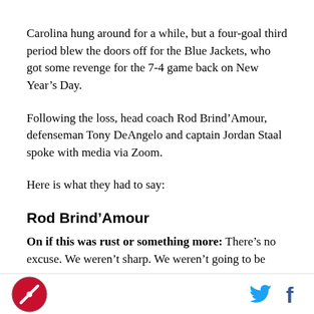Carolina hung around for a while, but a four-goal third period blew the doors off for the Blue Jackets, who got some revenge for the 7-4 game back on New Year’s Day.
Following the loss, head coach Rod Brind’Amour, defenseman Tony DeAngelo and captain Jordan Staal spoke with media via Zoom.
Here is what they had to say:
Rod Brind’Amour
On if this was rust or something more: There’s no excuse. We weren’t sharp. We weren’t going to be